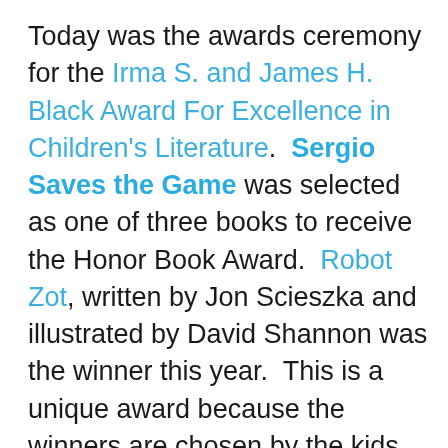Today was the awards ceremony for the Irma S. and James H. Black Award For Excellence in Children's Literature.  Sergio Saves the Game was selected as one of three books to receive the Honor Book Award.  Robot Zot, written by Jon Scieszka and illustrated by David Shannon was the winner this year.  This is a unique award because the winners are chosen by the kids themselves, about 2,500 children from all over the country voted on their favorites.  A special treat for me was to spend a lot of time with one of my favorite